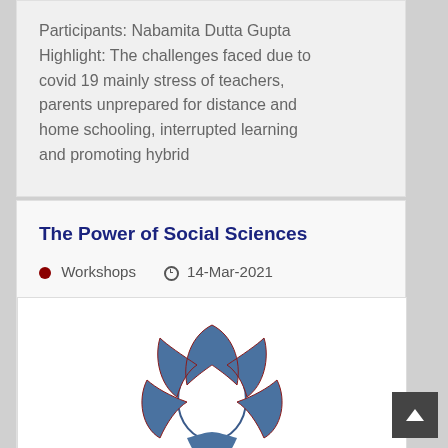Participants: Nabamita Dutta Gupta Highlight: The challenges faced due to covid 19 mainly stress of teachers, parents unprepared for distance and home schooling, interrupted learning and promoting hybrid
The Power of Social Sciences
Workshops   14-Mar-2021
[Figure (logo): Blue stylized lotus or flower logo with white oval center, set against a white background. Decorative leaf/petal shapes below.]